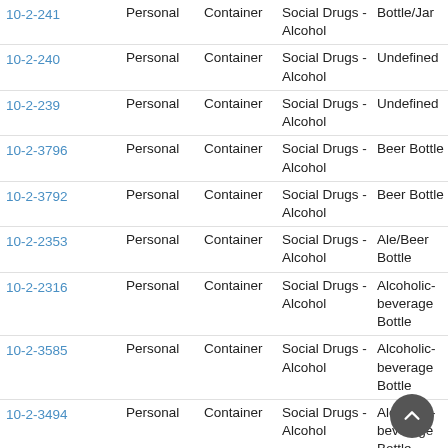| ID | Category | Type | SubCategory | Detail |
| --- | --- | --- | --- | --- |
| 10-2-241 | Personal | Container | Social Drugs - Alcohol | Bottle/Jar |
| 10-2-240 | Personal | Container | Social Drugs - Alcohol | Undefined |
| 10-2-239 | Personal | Container | Social Drugs - Alcohol | Undefined |
| 10-2-3796 | Personal | Container | Social Drugs - Alcohol | Beer Bottle |
| 10-2-3792 | Personal | Container | Social Drugs - Alcohol | Beer Bottle |
| 10-2-2353 | Personal | Container | Social Drugs - Alcohol | Ale/Beer Bottle |
| 10-2-2316 | Personal | Container | Social Drugs - Alcohol | Alcoholic-beverage Bottle |
| 10-2-3585 | Personal | Container | Social Drugs - Alcohol | Alcoholic-beverage Bottle |
| 10-2-3494 | Personal | Container | Social Drugs - Alcohol | Alcoholic-beverage Bottle |
| 10-2-3490 | Personal | Container | Social Drugs - Alcohol | Alcoholic-beverage Bottle |
| 10-2-3487 | Personal | Container | Social Drugs - Alcohol | Alcoholic-beverage Bottle |